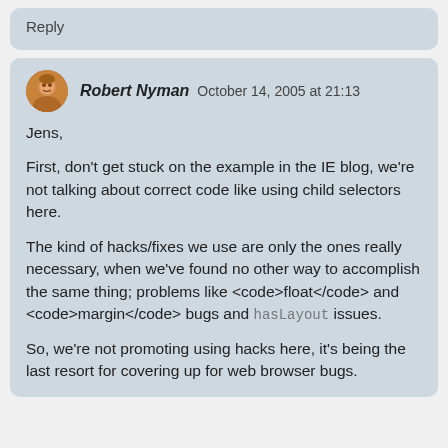Reply
Robert Nyman  October 14, 2005 at 21:13
Jens,
First, don't get stuck on the example in the IE blog, we're not talking about correct code like using child selectors here.
The kind of hacks/fixes we use are only the ones really necessary, when we've found no other way to accomplish the same thing; problems like <code>float</code> and <code>margin</code> bugs and hasLayout issues.
So, we're not promoting using hacks here, it's being the last resort for covering up for web browser bugs.